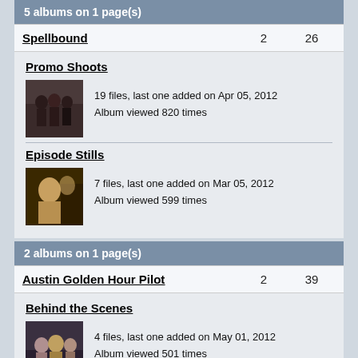5 albums on 1 page(s)
Spellbound	2	26
Promo Shoots
19 files, last one added on Apr 05, 2012
Album viewed 820 times
Episode Stills
7 files, last one added on Mar 05, 2012
Album viewed 599 times
2 albums on 1 page(s)
Austin Golden Hour Pilot	2	39
Behind the Scenes
4 files, last one added on May 01, 2012
Album viewed 501 times
Screen Caps
35 files, last one added on May 01, 2012
Album viewed 803 times